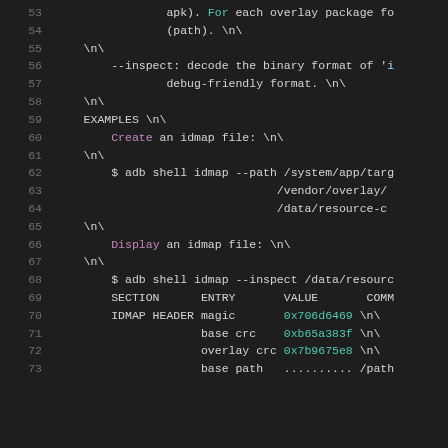Code listing lines 53–73, showing idmap command usage and output including EXAMPLES section, shell commands, and IDMAP HEADER output with hex values